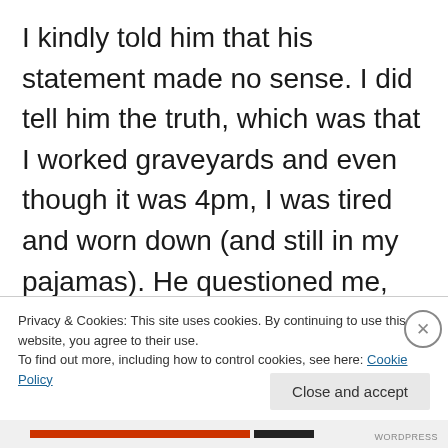I kindly told him that his statement made no sense. I did tell him the truth, which was that I worked graveyards and even though it was 4pm, I was tired and worn down (and still in my pajamas). He questioned me, still. “Have you used any illegal drugs or alcohol today? Have you ever used them before? Have you ever smoked
Privacy & Cookies: This site uses cookies. By continuing to use this website, you agree to their use.
To find out more, including how to control cookies, see here: Cookie Policy
Close and accept